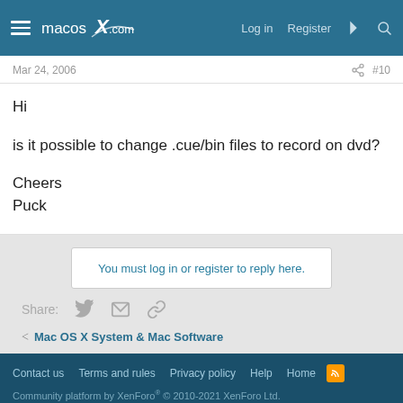macosX.com — Log in  Register
Mar 24, 2006  #10
Hi

is it possible to change .cue/bin files to record on dvd?

Cheers
Puck
You must log in or register to reply here.
Share:
< Mac OS X System & Mac Software
Contact us   Terms and rules   Privacy policy   Help   Home
Community platform by XenForo® © 2010-2021 XenForo Ltd.